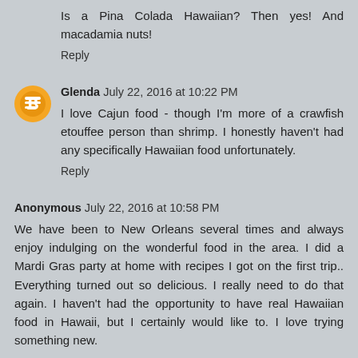Is a Pina Colada Hawaiian? Then yes! And macadamia nuts!
Reply
Glenda  July 22, 2016 at 10:22 PM
I love Cajun food - though I'm more of a crawfish etouffee person than shrimp. I honestly haven't had any specifically Hawaiian food unfortunately.
Reply
Anonymous  July 22, 2016 at 10:58 PM
We have been to New Orleans several times and always enjoy indulging on the wonderful food in the area. I did a Mardi Gras party at home with recipes I got on the first trip.. Everything turned out so delicious. I really need to do that again. I haven't had the opportunity to have real Hawaiian food in Hawaii, but I certainly would like to. I love trying something new.